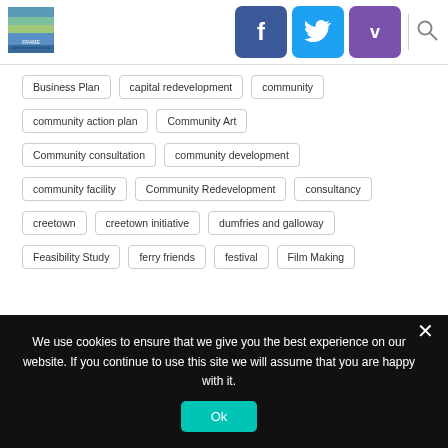[Figure (logo): Website logo with colorful image]
[Figure (infographic): Social media buttons: Facebook (dark blue), Twitter (light blue), Vimeo (purple), and search icon]
Business Plan
capital redevelopment
community
community action plan
Community Art
Community consultation
community development
community facility
Community Redevelopment
consultancy
creetown
creetown initiative
dumfries and galloway
Feasibility Study
ferry friends
festival
Film Making
We use cookies to ensure that we give you the best experience on our website. If you continue to use this site we will assume that you are happy with it.
Ok